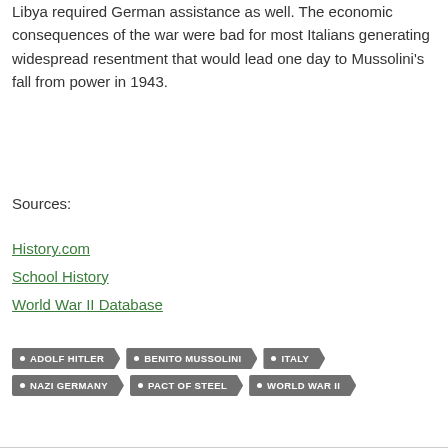Libya required German assistance as well. The economic consequences of the war were bad for most Italians generating widespread resentment that would lead one day to Mussolini's fall from power in 1943.
Sources:
History.com
School History
World War II Database
ADOLF HITLER • BENITO MUSSOLINI • ITALY • NAZI GERMANY • PACT OF STEEL • WORLD WAR II